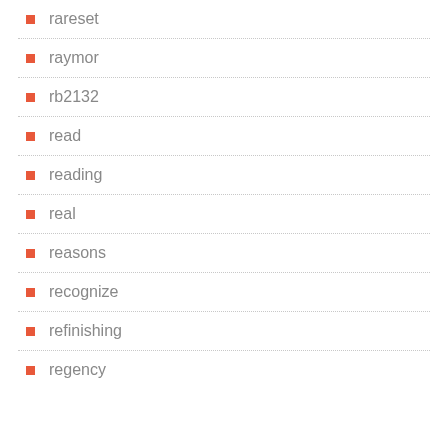rareset
raymor
rb2132
read
reading
real
reasons
recognize
refinishing
regency